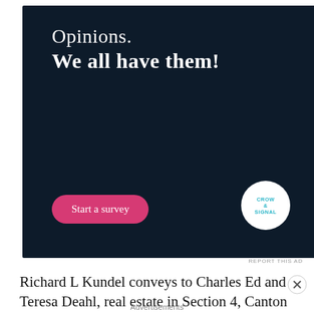[Figure (infographic): Advertisement banner with dark navy background. Text reads 'Opinions. We all have them!' with a pink 'Start a survey' button and a Crowdsignal logo circle on the right.]
REPORT THIS AD
Richard L Kundel conveys to Charles Ed and Teresa Deahl, real estate in Section 4, Canton Township.
Charles Ed and Teresa Deahl convey to Jerad and Lindsey Becker, real estate in Section 4, Canton
Advertisements